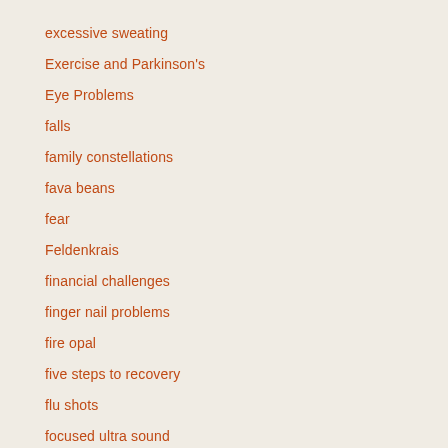excessive sweating
Exercise and Parkinson's
Eye Problems
falls
family constellations
fava beans
fear
Feldenkrais
financial challenges
finger nail problems
fire opal
five steps to recovery
flu shots
focused ultra sound